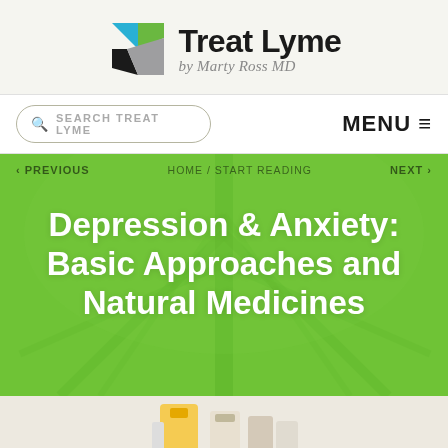[Figure (logo): Treat Lyme logo with colorful shield/triangle icon and text 'Treat Lyme by Marty Ross MD']
SEARCH TREAT LYME
MENU ≡
< PREVIOUS   HOME / START READING   NEXT >
Depression & Anxiety: Basic Approaches and Natural Medicines
[Figure (photo): Partial view of supplement/medicine products at the bottom of the page]